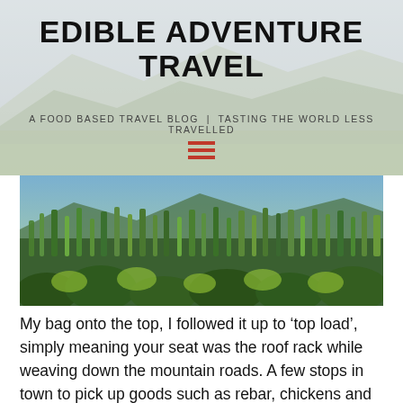EDIBLE ADVENTURE TRAVEL
A FOOD BASED TRAVEL BLOG | TASTING THE WORLD LESS TRAVELLED
[Figure (photo): A lush green tropical vegetation scene with tall grasses and plants, mountains visible in the background.]
My bag onto the top, I followed it up to ‘top load’, simply meaning your seat was the roof rack while weaving down the mountain roads. A few stops in town to pick up goods such as rebar, chickens and bags of rice for deliveries along the way we left town at a cruisy